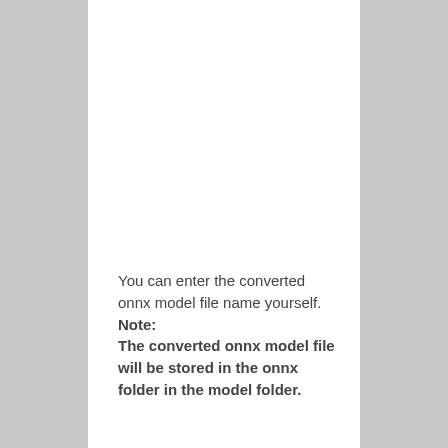You can enter the converted onnx model file name yourself. Note: The converted onnx model file will be stored in the onnx folder in the model folder.